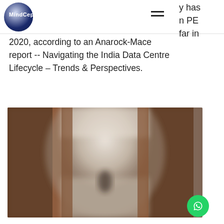MindCept [logo with hamburger menu]
2020, according to an Anarock-Mace report -- Navigating the India Data Centre Lifecycle - Trends & Perspectives.
[Figure (photo): Blurred interior corridor photo with dark wooden pillars on both sides and a bright center, with a person silhouette in the distance]
[Figure (logo): WhatsApp button (green circle with WhatsApp icon)]